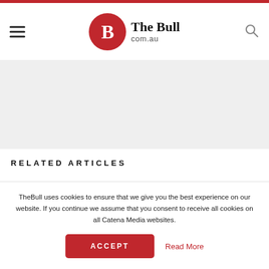The Bull com.au
RELATED ARTICLES
1 Australian banks in NZ PM Ardern's sights
TheBull uses cookies to ensure that we give you the best experience on our website. If you continue we assume that you consent to receive all cookies on all Catena Media websites.
ACCEPT  Read More